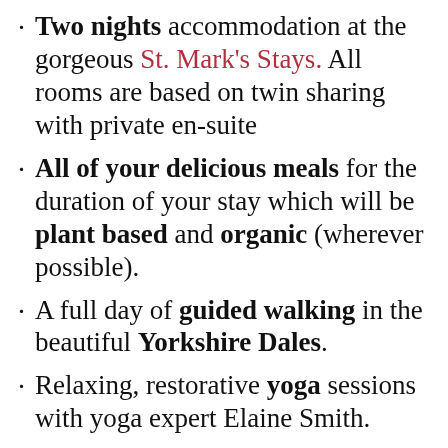Two nights accommodation at the gorgeous St. Mark's Stays. All rooms are based on twin sharing with private en-suite
All of your delicious meals for the duration of your stay which will be plant based and organic (wherever possible).
A full day of guided walking in the beautiful Yorkshire Dales.
Relaxing, restorative yoga sessions with yoga expert Elaine Smith.
A full morning of group health